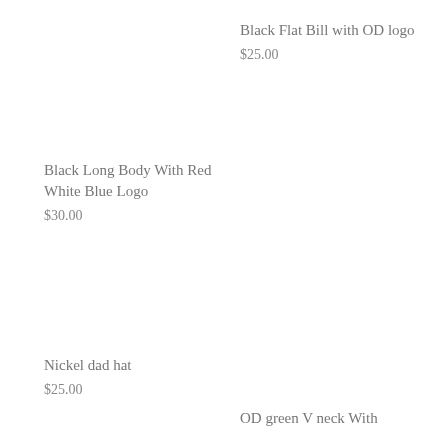Black Long Body With Red White Blue Logo
$30.00
Black Flat Bill with OD logo
$25.00
Nickel dad hat
$25.00
OD green V neck With